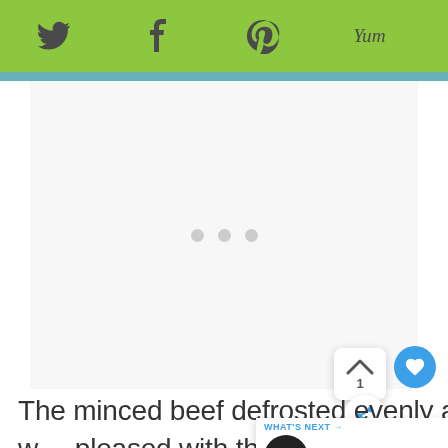Twitter | Facebook | Pinterest | Yum
[Figure (other): Blank image placeholder with three grey loading dots centered]
The minced beef defrosted evenly and without starting to cook and I was pleased with the result.